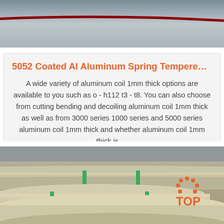[Figure (photo): Top portion of a photo showing a concrete surface with a red cable/wire running diagonally across it]
5052 Coated Al Aluminum Spring Tempere…
A wide variety of aluminum coil 1mm thick options are available to you such as o - h112 t3 - t8. You can also choose from cutting bending and decoiling aluminum coil 1mm thick as well as from 3000 series 1000 series and 5000 series aluminum coil 1mm thick and whether aluminum coil 1mm thick is …
Get Price
[Figure (photo): Photo of aluminum coil rolls bundled with green straps on a factory floor, with an orange TOP logo watermark in the bottom right]